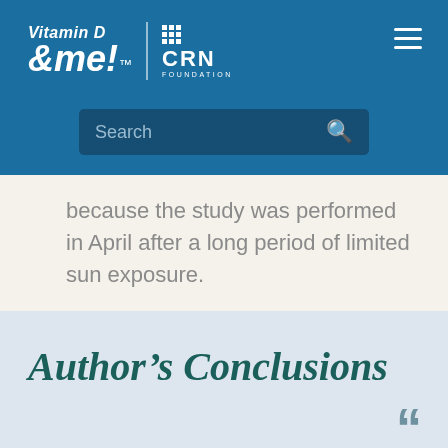Vitamin D & me! | CRN FOUNDATION
because the study was performed in April after a long period of limited sun exposure.
Author's Conclusions